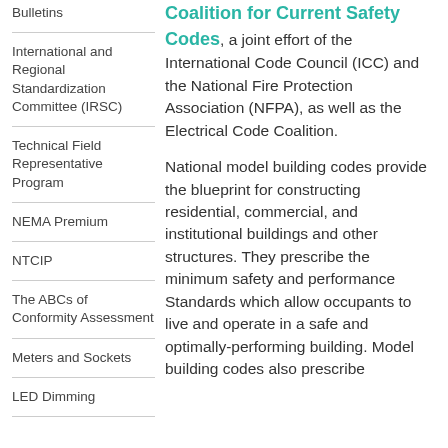Bulletins
International and Regional Standardization Committee (IRSC)
Technical Field Representative Program
NEMA Premium
NTCIP
The ABCs of Conformity Assessment
Meters and Sockets
LED Dimming
Coalition for Current Safety Codes, a joint effort of the International Code Council (ICC) and the National Fire Protection Association (NFPA), as well as the Electrical Code Coalition.
National model building codes provide the blueprint for constructing residential, commercial, and institutional buildings and other structures. They prescribe the minimum safety and performance Standards which allow occupants to live and operate in a safe and optimally-performing building. Model building codes also prescribe